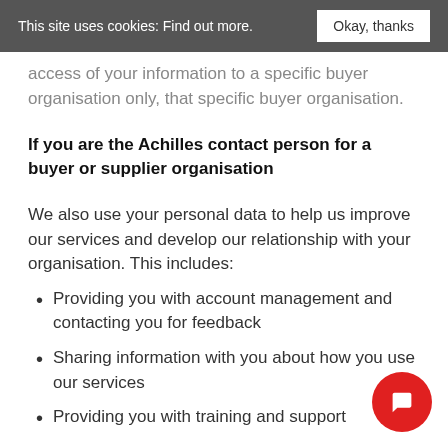This site uses cookies: Find out more.  Okay, thanks
access of your information to a specific buyer organisation only, that specific buyer organisation.
If you are the Achilles contact person for a buyer or supplier organisation
We also use your personal data to help us improve our services and develop our relationship with your organisation. This includes:
Providing you with account management and contacting you for feedback
Sharing information with you about how you use our services
Providing you with training and support